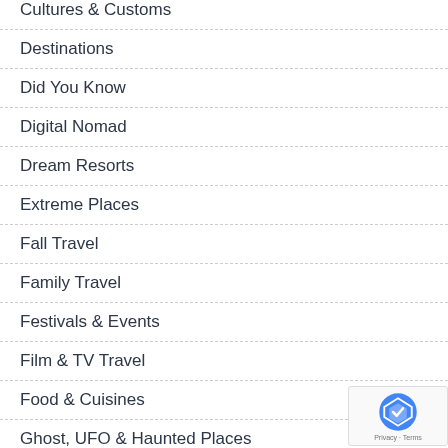Cultures & Customs
Destinations
Did You Know
Digital Nomad
Dream Resorts
Extreme Places
Fall Travel
Family Travel
Festivals & Events
Film & TV Travel
Food & Cuisines
Ghost, UFO & Haunted Places
Health & Safety
Highpointing
Show More